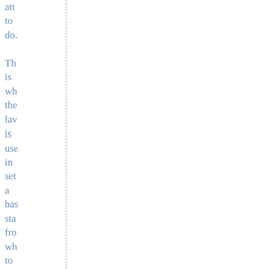att to do. Th is wh the lav is use in set a bas sta fro wh to wo